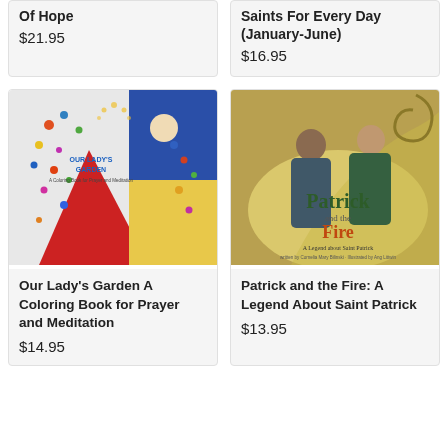Of Hope
$21.95
Saints For Every Day (January-June)
$16.95
[Figure (photo): Book cover: Our Lady's Garden - A Coloring Book for Prayer and Meditation, showing stylized illustration of Our Lady with colorful dots/beads pattern]
Our Lady's Garden A Coloring Book for Prayer and Meditation
$14.95
[Figure (photo): Book cover: Patrick and the Fire - A Legend about Saint Patrick, showing two figures in green cloaks with decorative swirls]
Patrick and the Fire: A Legend About Saint Patrick
$13.95